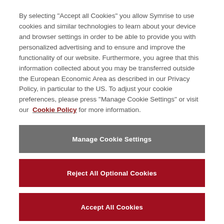By selecting "Accept all Cookies" you allow Symrise to use cookies and similar technologies to learn about your device and browser settings in order to be able to provide you with personalized advertising and to ensure and improve the functionality of our website. Furthermore, you agree that this information collected about you may be transferred outside the European Economic Area as described in our Privacy Policy, in particular to the US. To adjust your cookie preferences, please press "Manage Cookie Settings" or visit our Cookie Policy for more information.
Manage Cookie Settings
Reject All Optional Cookies
Accept All Cookies
Financial   Sep 21, 2022